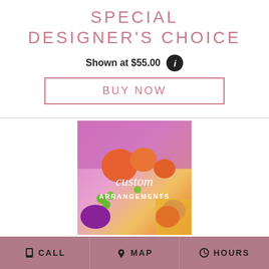SPECIAL DESIGNER'S CHOICE
Shown at $55.00
BUY NOW
[Figure (photo): Custom floral arrangements photo showing orange roses, purple/pink flowers, and green berries with overlay text reading 'custom ARRANGEMENTS']
CALL  MAP  HOURS